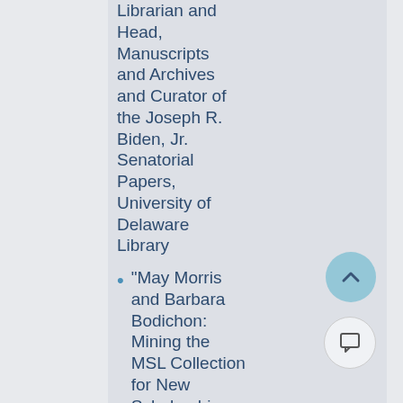Librarian and Head, Manuscripts and Archives and Curator of the Joseph R. Biden, Jr. Senatorial Papers, University of Delaware Library
“May Morris and Barbara Bodichon: Mining the MSL Collection for New Scholarship on Women in the Arts.” Margaretta S. Frederick, Chief Curator,